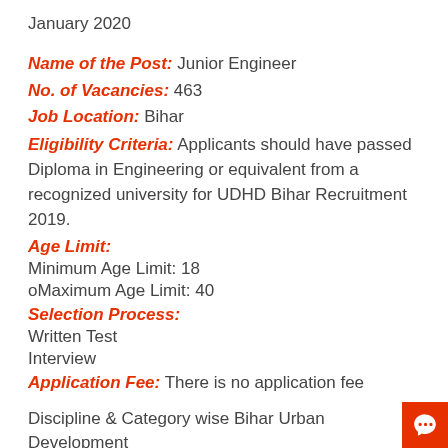January 2020
Name of the Post: Junior Engineer
No. of Vacancies: 463
Job Location: Bihar
Eligibility Criteria: Applicants should have passed Diploma in Engineering or equivalent from a recognized university for UDHD Bihar Recruitment 2019.
Age Limit:
Minimum Age Limit: 18
oMaximum Age Limit: 40
Selection Process:
Written Test
Interview
Application Fee: There is no application fee
Discipline & Category wise Bihar Urban Development